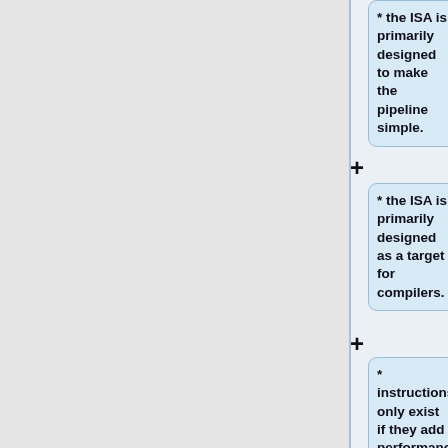* the ISA is primarily designed to make the pipeline simple.
* the ISA is primarily designed as a target for compilers.
* instructions only exist if they add performance.
* frequently accessed data is kept in registers.